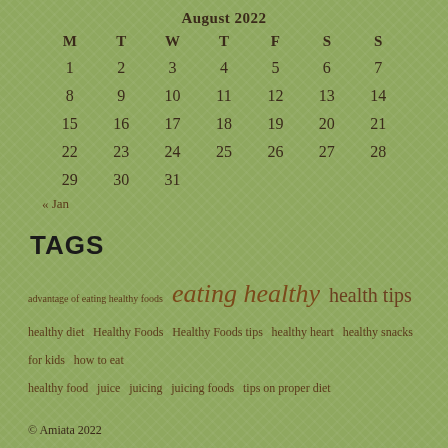August 2022
| M | T | W | T | F | S | S |
| --- | --- | --- | --- | --- | --- | --- |
| 1 | 2 | 3 | 4 | 5 | 6 | 7 |
| 8 | 9 | 10 | 11 | 12 | 13 | 14 |
| 15 | 16 | 17 | 18 | 19 | 20 | 21 |
| 22 | 23 | 24 | 25 | 26 | 27 | 28 |
| 29 | 30 | 31 |  |  |  |  |
« Jan
TAGS
advantage of eating healthy foods  eating healthy  health tips  healthy diet  Healthy Foods  Healthy Foods tips  healthy heart  healthy snacks for kids  how to eat healthy food  juice  juicing  juicing foods  tips on proper diet
© Amiata 2022